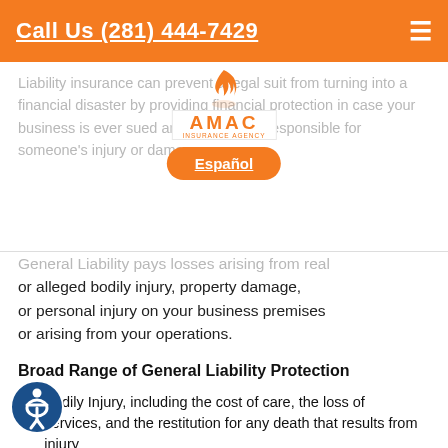Call Us (281) 444-7429
Liability insurance can prevent a legal suit from turning into a financial disaster by providing financial protection in case your business is ever sued and held legally responsible for someone's injury or damage.
[Figure (logo): AMAC Insurance Agency logo with flame icon and orange Español button overlay]
General Liability pays losses arising from real or alleged bodily injury, property damage, or personal injury on your business premises or arising from your operations.
Broad Range of General Liability Protection
Bodily Injury, including the cost of care, the loss of services, and the restitution for any death that results from injury
Property Damage coverage for the physical damage to property of others or the loss of use of that property